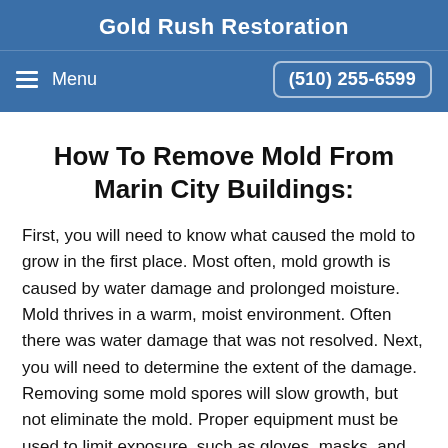Gold Rush Restoration
Menu   (510) 255-6599
How To Remove Mold From Marin City Buildings:
First, you will need to know what caused the mold to grow in the first place. Most often, mold growth is caused by water damage and prolonged moisture. Mold thrives in a warm, moist environment. Often there was water damage that was not resolved. Next, you will need to determine the extent of the damage. Removing some mold spores will slow growth, but not eliminate the mold. Proper equipment must be used to limit exposure, such as gloves, masks, and goggles. Affected floorboards and sections of drywall